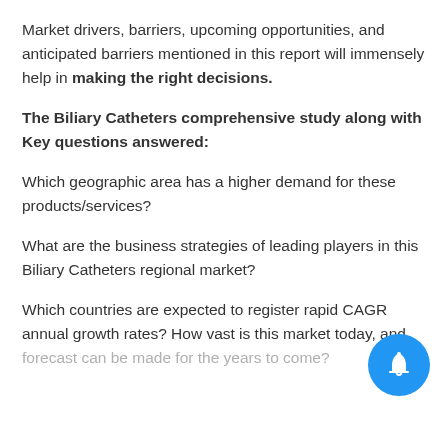Market drivers, barriers, upcoming opportunities, and anticipated barriers mentioned in this report will immensely help in making the right decisions.
The Biliary Catheters comprehensive study along with Key questions answered:
Which geographic area has a higher demand for these products/services?
What are the business strategies of leading players in this Biliary Catheters regional market?
Which countries are expected to register rapid CAGR annual growth rates? How vast is this market today, and what forecast can be made for the years to come?